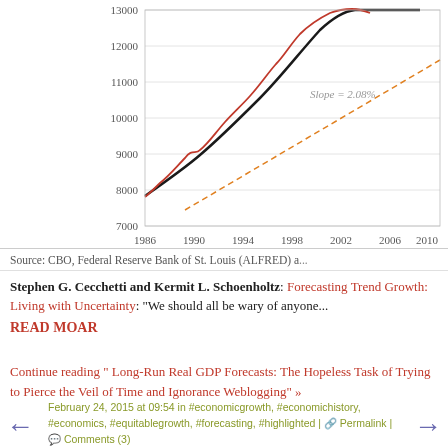[Figure (continuous-plot): Line chart showing real GDP trend data from 1986 to 2010. Y-axis ranges from 7000 to 13000. Contains a black trend line, a red actual data line, and an orange dashed projection line labeled 'Slope = 2.08%'. The lines start around 7800 in 1986 and rise to around 13000 by 2004.]
Source: CBO, Federal Reserve Bank of St. Louis (ALFRED) a...
Stephen G. Cecchetti and Kermit L. Schoenholtz: Forecasting Trend Growth: Living with Uncertainty: "We should all be wary of anyone... READ MOAR
Continue reading " Long-Run Real GDP Forecasts: The Hopeless Task of Trying to Pierce the Veil of Time and Ignorance Weblogging" »
February 24, 2015 at 09:54 in #economicgrowth, #economichistory, #economics, #equitablegrowth, #forecasting, #highlighted | Permalink | Comments (3)